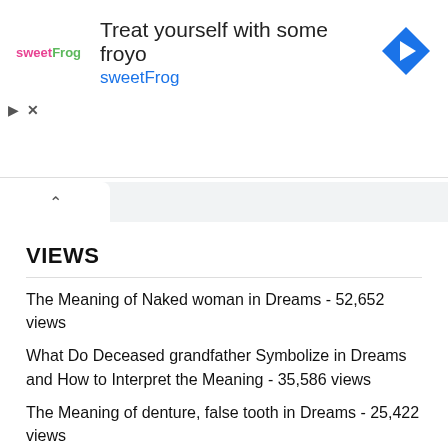[Figure (screenshot): Advertisement banner for sweetFrog frozen yogurt with logo, headline 'Treat yourself with some froyo', URL 'sweetFrog', and a blue diamond navigation icon. Below are ad control icons (play and X).]
VIEWS
The Meaning of Naked woman in Dreams - 52,652 views
What Do Deceased grandfather Symbolize in Dreams and How to Interpret the Meaning - 35,586 views
The Meaning of denture, false tooth in Dreams - 25,422 views
What Do White Tiger Symbolize in Dreams and How to